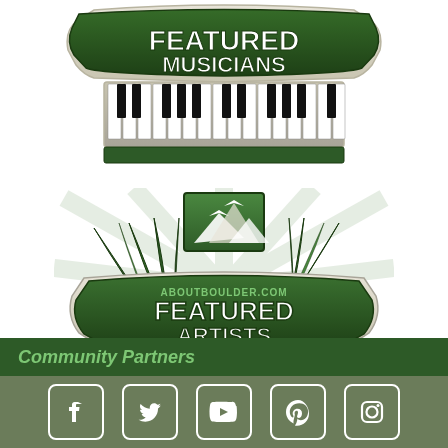[Figure (logo): Featured Musicians badge logo with piano keys, green and beige color scheme, text reads FEATURED MUSICIANS for aboutboulder.com]
[Figure (logo): Featured Artists badge logo with easel, feathers, mountains, green and beige color scheme, text reads ABOUTBOULDER.COM FEATURED ARTISTS]
Community Partners
[Figure (illustration): Social media icons footer bar with Facebook, Twitter, YouTube, Pinterest, Instagram icons in white on olive/sage green background]